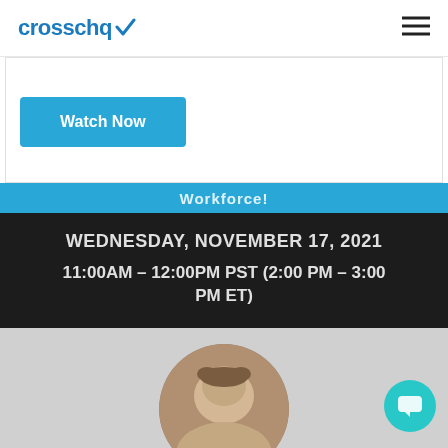crosschq
[Figure (screenshot): Watch Now button on white card section]
[Figure (screenshot): Event banner showing workforce webinar date and time: WEDNESDAY, NOVEMBER 17, 2021 | 11:00AM – 12:00PM PST (2:00 PM – 3:00 PM ET), with speaker photo below]